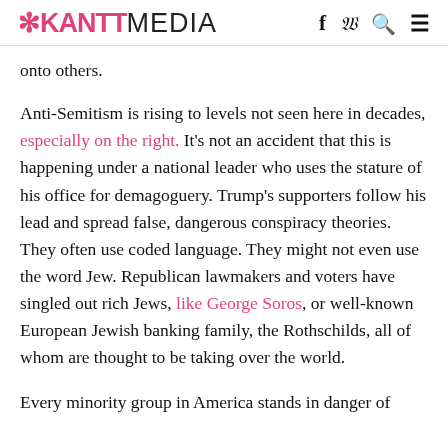RANTT MEDIA
onto others.
Anti-Semitism is rising to levels not seen here in decades, especially on the right. It’s not an accident that this is happening under a national leader who uses the stature of his office for demagoguery. Trump’s supporters follow his lead and spread false, dangerous conspiracy theories. They often use coded language. They might not even use the word Jew. Republican lawmakers and voters have singled out rich Jews, like George Soros, or well-known European Jewish banking family, the Rothschilds, all of whom are thought to be taking over the world.
Every minority group in America stands in danger of